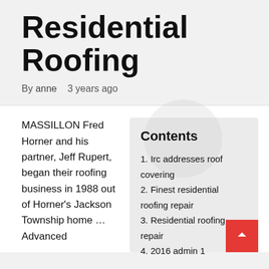Residential Roofing
By anne   3 years ago
MASSILLON Fred Horner and his partner, Jeff Rupert, began their roofing business in 1988 out of Horner's Jackson Township home … Advanced
Contents
1. Irc addresses roof covering
2. Finest residential roofing repair
3. Residential roofing repair
4. 2016 admin 1